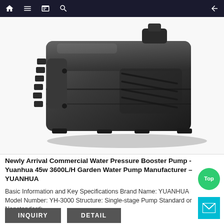Navigation bar with home, menu, bookmark, search, and back icons
[Figure (photo): Black water pressure booster pump (YUANHUA YH-3000) viewed from side angle, showing ribbed housing, intake vents, and compact rectangular form]
Newly Arrival Commercial Water Pressure Booster Pump - Yuanhua 45w 3600L/H Garden Water Pump Manufacturer – YUANHUA
Basic Information and Key Specifications Brand Name: YUANHUA Model Number: YH-3000 Structure: Single-stage Pump Standard or Nonstandard:
INQUIRY
DETAIL